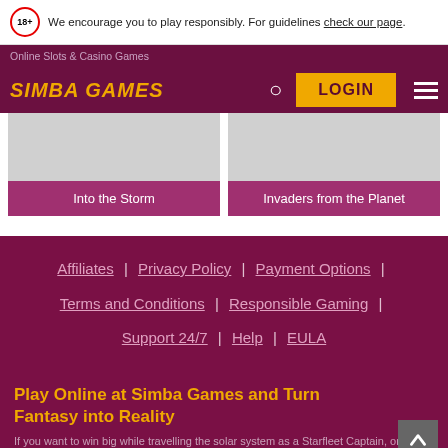We encourage you to play responsibly. For guidelines check our page.
Online Slots & Casino Games
SIMBA GAMES  LOGIN
[Figure (screenshot): Two game card thumbnails with grey image placeholders. Left card labelled 'Into the Storm', right card labelled 'Invaders from the Planet'.]
Affiliates | Privacy Policy | Payment Options | Terms and Conditions | Responsible Gaming | Support 24/7 | Help | EULA
Play Online at Simba Games and Turn Fantasy into Reality
If you want to win big while travelling the solar system as a Starfleet Captain, or raid lost tombs with Indian Jones, you're in the right place.